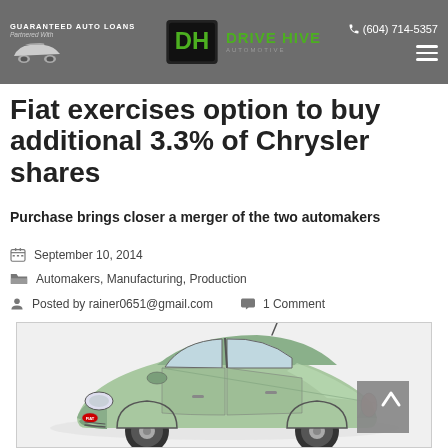Drive Hive — Guaranteed Auto Loans — Partnered with Drive Hive — (604) 714-5357
Fiat exercises option to buy additional 3.3% of Chrysler shares
Purchase brings closer a merger of the two automakers
September 10, 2014
Automakers, Manufacturing, Production
Posted by rainer0651@gmail.com   1 Comment
[Figure (photo): A mint green Fiat 500 compact car photographed from a front three-quarter angle on a white background]